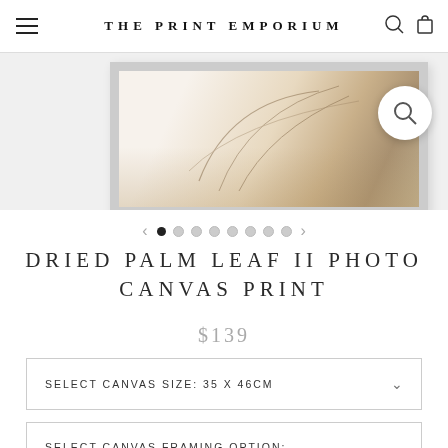THE PRINT EMPORIUM
[Figure (photo): Framed artwork print showing dried palm leaf II photo canvas, partially visible in a grey/silver frame against a light background]
[Figure (infographic): Carousel navigation: left arrow, 8 dots (first filled/active, rest empty), right arrow]
DRIED PALM LEAF II PHOTO CANVAS PRINT
$139
SELECT CANVAS SIZE: 35 x 46cm
SELECT CANVAS FRAMING OPTION:
STRETCHED (NO FRAME)